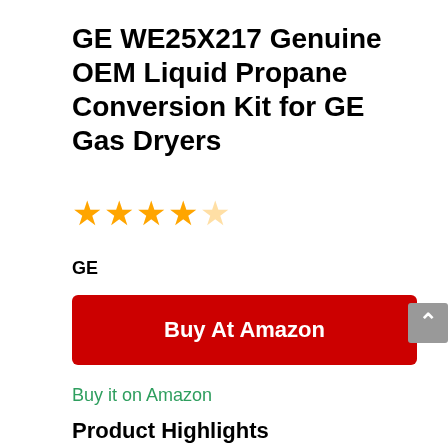GE WE25X217 Genuine OEM Liquid Propane Conversion Kit for GE Gas Dryers
[Figure (other): 4 out of 5 stars rating displayed with orange star icons]
GE
Buy At Amazon
Buy it on Amazon
Product Highlights